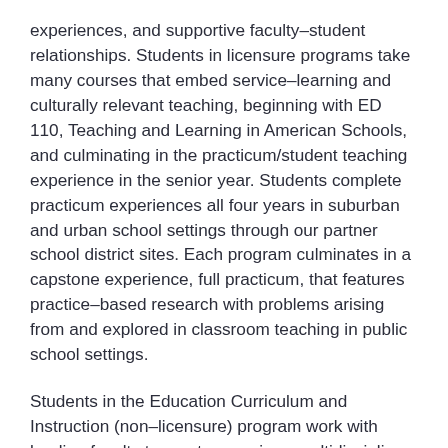experiences, and supportive faculty–student relationships. Students in licensure programs take many courses that embed service–learning and culturally relevant teaching, beginning with ED 110, Teaching and Learning in American Schools, and culminating in the practicum/student teaching experience in the senior year. Students complete practicum experiences all four years in suburban and urban school settings through our partner school district sites. Each program culminates in a capstone experience, full practicum, that features practice–based research with problems arising from and explored in classroom teaching in public school settings.
Students in the Education Curriculum and Instruction (non–licensure) program work with leading faculty to create an unique multidisciplinary teaching and learning plan with career preparation in and out of schools. Students in this program complete internships in a variety of settings including behavior analysis agencies, private school teaching, non–profit organizations, early